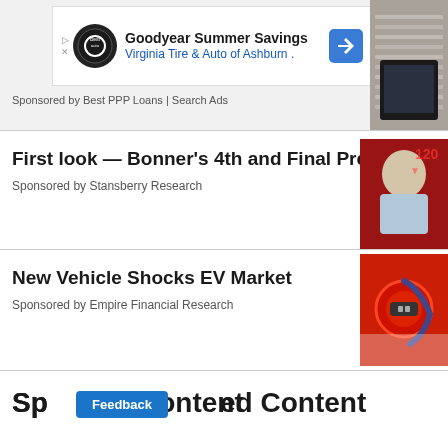[Figure (other): Goodyear Summer Savings advertisement banner with Virginia Tire & Auto of Ashburn logo, navigation arrow icon]
Sponsored by Best PPP Loans | Search Ads
[Figure (photo): Partial image of stacked papers/books on right side, cropped]
First look — Bonner's 4th and Final Prediction
Sponsored by Stansberry Research
[Figure (photo): Photo of elderly man with serious expression, red background with financial data]
New Vehicle Shocks EV Market
Sponsored by Empire Financial Research
[Figure (photo): Red electric vehicle charging connector plugged into car]
Sponsored Content
Feedback